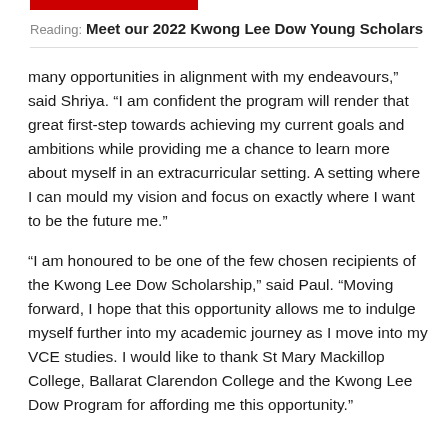Reading: Meet our 2022 Kwong Lee Dow Young Scholars
many opportunities in alignment with my endeavours,” said Shriya. “I am confident the program will render that great first-step towards achieving my current goals and ambitions while providing me a chance to learn more about myself in an extracurricular setting. A setting where I can mould my vision and focus on exactly where I want to be the future me.”
“I am honoured to be one of the few chosen recipients of the Kwong Lee Dow Scholarship,” said Paul. “Moving forward, I hope that this opportunity allows me to indulge myself further into my academic journey as I move into my VCE studies. I would like to thank St Mary Mackillop College, Ballarat Clarendon College and the Kwong Lee Dow Program for affording me this opportunity.”